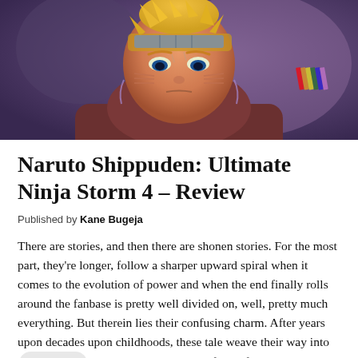[Figure (photo): Anime screenshot of Naruto character from Naruto Shippuden, closeup of face with serious expression, wearing dark hoodie, purple/blue blurred background]
Naruto Shippuden: Ultimate Ninja Storm 4 – Review
Published by Kane Bugeja
There are stories, and then there are shonen stories. For the most part, they're longer, follow a sharper upward spiral when it comes to the evolution of power and when the end finally rolls around the fanbase is pretty well divided on, well, pretty much everything. But therein lies their confusing charm. After years upon decades upon childhoods, these tale weave their way into [Light | Dark toggle] youth until they are a defining factor. Convoluted in their